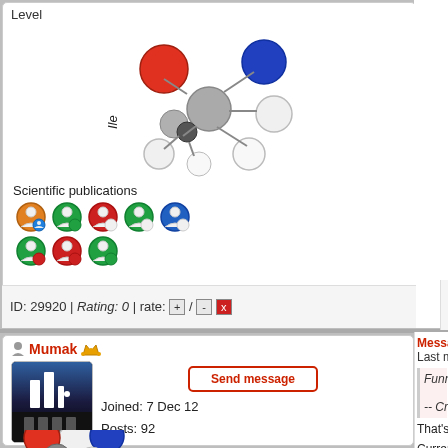Level
[Figure (illustration): 3D molecule model (Ile - Isoleucine amino acid) with colored spheres: red, blue, white, grey atoms]
Scientific publications
[Figure (illustration): Row of badge icons: orange circle badge, green circle badge, red/white badge, green/white badge, blue/white badge; second row: green/red circle badge, red/white circle badge, green/white circle badge]
ID: 29920 | Rating: 0 | rate: [+] / [-][x]
Reply
Qu
Message 29921 - Posted: 14 May 2013 | 6:30:32
Last modified: 14 May 2013 | 6:32:47 UTC
Funny enough, 1WU takes the same amou
-- Craig
That's easy to explain - MW@H has OpenCL app performance boost would be huge.
Currently my dual HD7950s do about 570K PPD c
[Figure (illustration): User icon (person silhouette)]
Mumak
[Figure (illustration): Crown icon in gold/orange]
[Figure (screenshot): User avatar: dark app icon with white bar chart / histogram bars on dark background]
Send message
Joined: 7 Dec 12
Posts: 92
Credit: 225,897,225
RAC: 0
Level
[Figure (illustration): 3D molecule model partial view at bottom, blue/red/white/grey spheres]